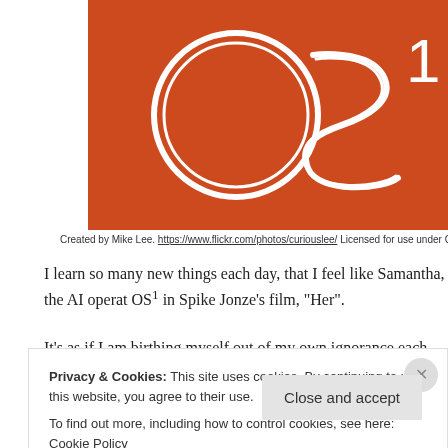[Figure (illustration): Orange/red background with large outlined text 'OS1' in white thin strokes on orange background]
Created by Mike Lee. https://www.flickr.com/photos/curiouslee/ Licensed for use under Creati...
I learn so many new things each day, that I feel like Samantha, the AI operat OS¹ in Spike Jonze's film, "Her".
It's as if I am birthing myself out of my own ignorance each and every day.
Privacy & Cookies: This site uses cookies. By continuing to use this website, you agree to their use.
To find out more, including how to control cookies, see here: Cookie Policy